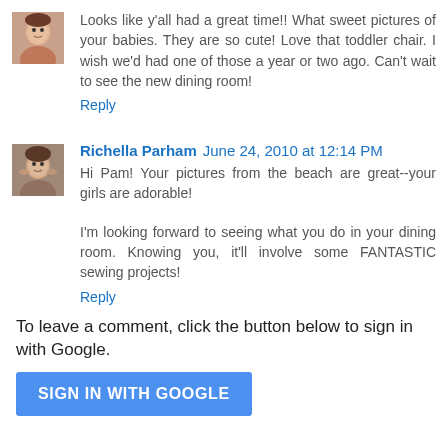Looks like y'all had a great time!! What sweet pictures of your babies. They are so cute! Love that toddler chair. I wish we'd had one of those a year or two ago. Can't wait to see the new dining room!
Reply
Richella Parham June 24, 2010 at 12:14 PM
Hi Pam! Your pictures from the beach are great--your girls are adorable!
I'm looking forward to seeing what you do in your dining room. Knowing you, it'll involve some FANTASTIC sewing projects!
Reply
To leave a comment, click the button below to sign in with Google.
SIGN IN WITH GOOGLE